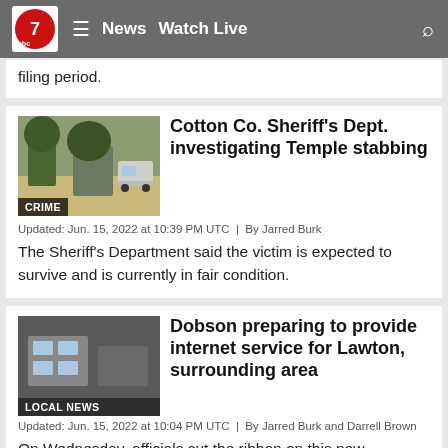abc7 News  Watch Live
filing period.
Cotton Co. Sheriff's Dept. investigating Temple stabbing
Updated: Jun. 15, 2022 at 10:39 PM UTC  |  By Jarred Burk
The Sheriff's Department said the victim is expected to survive and is currently in fair condition.
Dobson preparing to provide internet service for Lawton, surrounding area
Updated: Jun. 15, 2022 at 10:04 PM UTC  |  By Jarred Burk and Darrell Brown
On Wednesday, officials cut the ribbon on this new